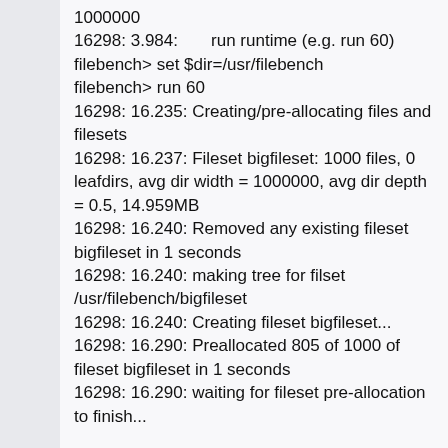1000000
16298: 3.984:       run runtime (e.g. run 60)
filebench> set $dir=/usr/filebench
filebench> run 60
16298: 16.235: Creating/pre-allocating files and filesets
16298: 16.237: Fileset bigfileset: 1000 files, 0 leafdirs, avg dir width = 1000000, avg dir depth = 0.5, 14.959MB
16298: 16.240: Removed any existing fileset bigfileset in 1 seconds
16298: 16.240: making tree for filset /usr/filebench/bigfileset
16298: 16.240: Creating fileset bigfileset...
16298: 16.290: Preallocated 805 of 1000 of fileset bigfileset in 1 seconds
16298: 16.290: waiting for fileset pre-allocation to finish...